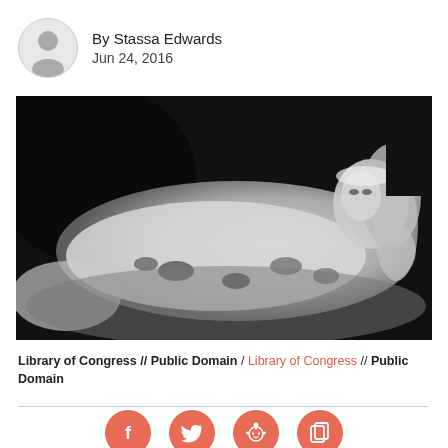By Stassa Edwards
Jun 24, 2016
[Figure (photo): Black and white photograph of a woman in a white floral dress lying reclined, historical post-mortem or sleeping portrait style, Library of Congress collection.]
Library of Congress // Public Domain / Library of Congress // Public Domain
[Figure (infographic): Row of four salmon/coral-colored circular social media share buttons: Facebook (f), Twitter (bird), Reddit (alien), and a copy/share icon.]